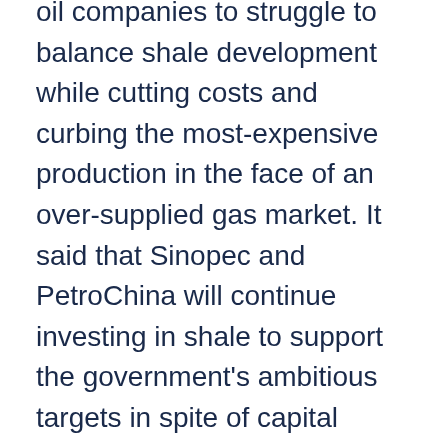oil companies to struggle to balance shale development while cutting costs and curbing the most-expensive production in the face of an over-supplied gas market. It said that Sinopec and PetroChina will continue investing in shale to support the government's ambitious targets in spite of capital constraints and the significant slowdown in China's gas demand growth.
For international oil companies in China, BP "has been swimming against the tide" as the other majors reduce their exposure to China and refocus on core assets.
Meanwhile, although China's five-year plans have historically been optimistic in their targets, the